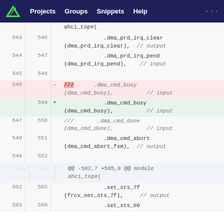Projects  Groups  Snippets  Help ...
Code diff view showing changes to ahci_top module, lines 543-586
[Figure (screenshot): Git diff screenshot showing code changes in a Verilog/SystemVerilog file. Lines 543-549/552 show dma_prd_irq and dma_cmd port connections. Line 546 (deleted, red) shows /// .dma_cmd_busy (dma_cmd_busy), // input. Line 549 (added, green) shows .dma_cmd_busy (dma_cmd_busy), // input. Lines 547-552 show additional context. A second chunk at -582,7 +585,8 shows set_sts_7f and set_sts_80 ports.]